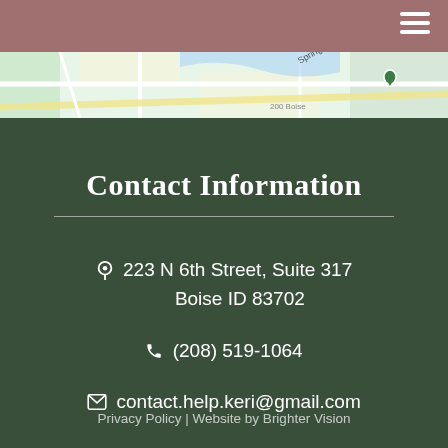[Figure (map): Google Maps strip showing street map with location pin near 223 N 6th St, Boise, with street labels visible including 'Springs A']
Contact Information
223 N 6th Street, Suite 317
Boise ID 83702
(208) 519-1064
contact.help.keri@gmail.com
Privacy Policy | Website by Brighter Vision